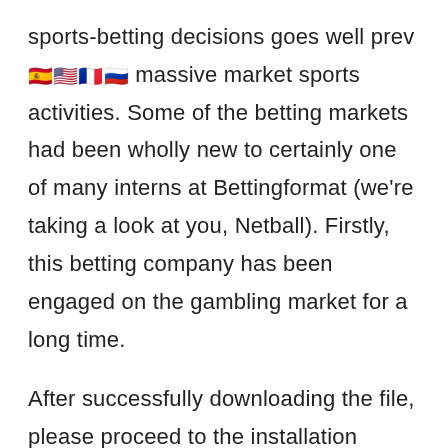sports-betting decisions goes well prev[flags] massive market sports activities. Some of the betting markets had been wholly new to certainly one of many interns at Bettingformat (we're taking a look at you, Netball). Firstly, this betting company has been engaged on the gambling market for a long time.
After successfully downloading the file, please proceed to the installation phase. The employees of help manage prospects' messages every single day the complete day and night time. The key issue to understand the strategy is to get the latest mannequin of the native software program program to a specific system. Should you guess the